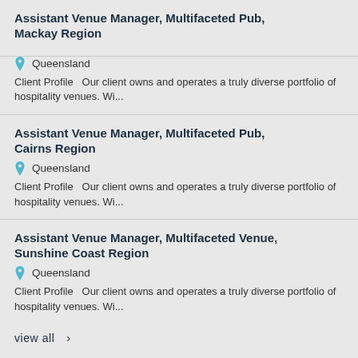Assistant Venue Manager, Multifaceted Pub, Mackay Region
Queensland
Client Profile   Our client owns and operates a truly diverse portfolio of hospitality venues. Wi...
Assistant Venue Manager, Multifaceted Pub, Cairns Region
Queensland
Client Profile   Our client owns and operates a truly diverse portfolio of hospitality venues. Wi...
Assistant Venue Manager, Multifaceted Venue, Sunshine Coast Region
Queensland
Client Profile   Our client owns and operates a truly diverse portfolio of hospitality venues. Wi...
view all  >